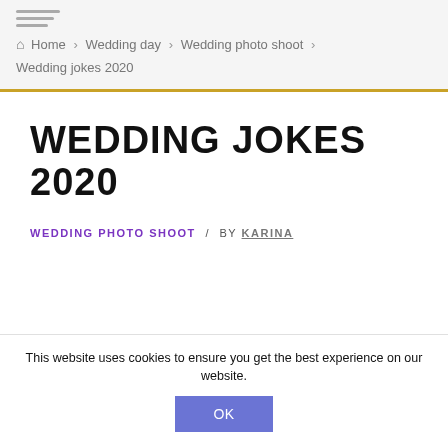Home › Wedding day › Wedding photo shoot › Wedding jokes 2020
WEDDING JOKES 2020
WEDDING PHOTO SHOOT / BY KARINA
This website uses cookies to ensure you get the best experience on our website. OK